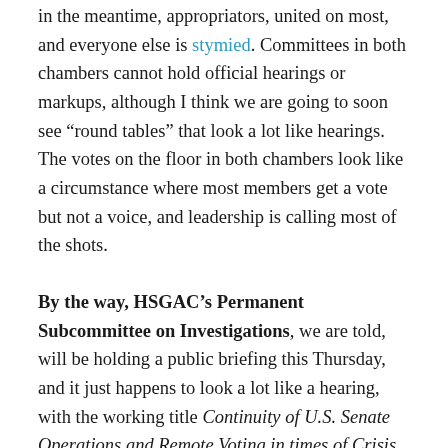in the meantime, appropriators, united on most, and everyone else is stymied. Committees in both chambers cannot hold official hearings or markups, although I think we are going to soon see "round tables" that look a lot like hearings. The votes on the floor in both chambers look like a circumstance where most members get a vote but not a voice, and leadership is calling most of the shots.
By the way, HSGAC's Permanent Subcommittee on Investigations, we are told, will be holding a public briefing this Thursday, and it just happens to look a lot like a hearing, with the working title Continuity of U.S. Senate Operations and Remote Voting in times of Crisis. Good for them! We know of other committees that have held internal briefings that look a lot like oversight